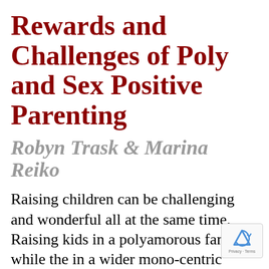Rewards and Challenges of Poly and Sex Positive Parenting
Robyn Trask & Marina Reiko
Raising children can be challenging and wonderful all at the same time. Raising kids in a polyamorous family while the in a wider mono-centric world can bring a unique set of issues. Issues can be further complicated in trying to overcome sex negativity and pass positive messages to our